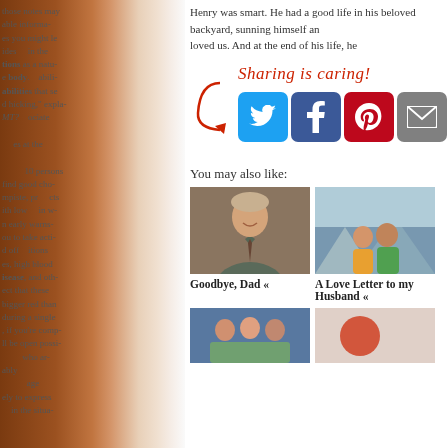Henry was smart. He had a good life in his beloved backyard, sunning himself and loved us. And at the end of his life, he
[Figure (infographic): Sharing is caring! text with arrow pointing to social media share buttons: Twitter (blue), Facebook (dark blue), Pinterest (red), Email (gray), and a partial green button]
You may also like:
[Figure (photo): Photo of a man in a suit and tie, smiling]
Goodbye, Dad «
[Figure (photo): Photo of a couple outdoors with mountains in background]
A Love Letter to my Husband «
[Figure (photo): Partial photo at bottom left, group of people]
[Figure (photo): Partial photo at bottom right]